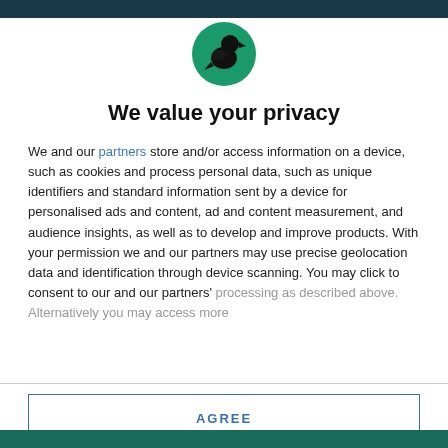[Figure (logo): Circular green logo with a black raven/bird silhouette]
We value your privacy
We and our partners store and/or access information on a device, such as cookies and process personal data, such as unique identifiers and standard information sent by a device for personalised ads and content, ad and content measurement, and audience insights, as well as to develop and improve products. With your permission we and our partners may use precise geolocation data and identification through device scanning. You may click to consent to our and our partners' processing as described above. Alternatively you may access more
AGREE
MORE OPTIONS